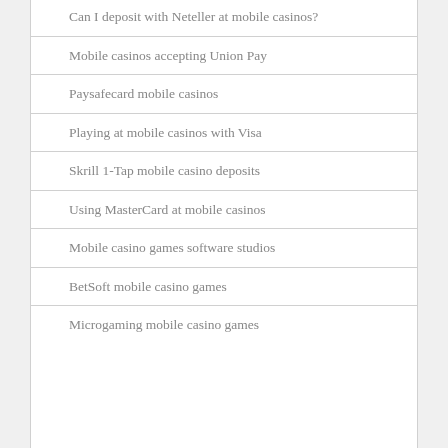Can I deposit with Neteller at mobile casinos?
Mobile casinos accepting Union Pay
Paysafecard mobile casinos
Playing at mobile casinos with Visa
Skrill 1-Tap mobile casino deposits
Using MasterCard at mobile casinos
Mobile casino games software studios
BetSoft mobile casino games
Microgaming mobile casino games